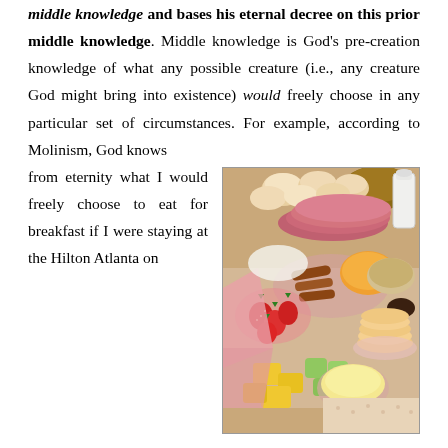middle knowledge and bases his eternal decree on this prior middle knowledge. Middle knowledge is God's pre-creation knowledge of what any possible creature (i.e., any creature God might bring into existence) would freely choose in any particular set of circumstances. For example, according to Molinism, God knows from eternity what I would freely choose to eat for breakfast if I were staying at the Hilton Atlanta on November 18, 2015, and presented with a particular range of options while feeling hungry and slightly adventurous. This knowledge doesn't in itself entail that I will make that free choice, only that I
[Figure (photo): A large spread of breakfast foods on a table, including biscuits, ham, bacon, sausages, strawberries, fruit, scrambled eggs, pancakes, and various dishes.]